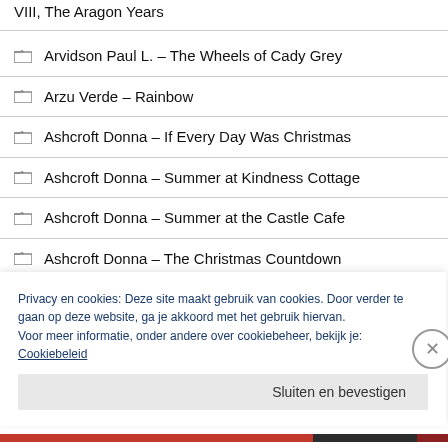VIII, The Aragon Years
Arvidson Paul L. – The Wheels of Cady Grey
Arzu Verde – Rainbow
Ashcroft Donna – If Every Day Was Christmas
Ashcroft Donna – Summer at Kindness Cottage
Ashcroft Donna – Summer at the Castle Cafe
Ashcroft Donna – The Christmas Countdown
Privacy en cookies: Deze site maakt gebruik van cookies. Door verder te gaan op deze website, ga je akkoord met het gebruik hiervan. Voor meer informatie, onder andere over cookiebeheer, bekijk je: Cookiebeleid
Sluiten en bevestigen